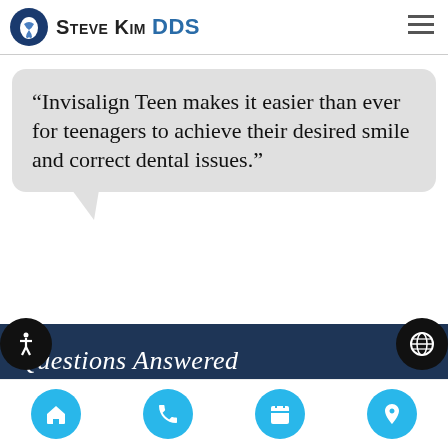[Figure (logo): Steve Kim DDS dental practice logo with tooth icon and blue text]
“Invisalign Teen makes it easier than ever for teenagers to achieve their desired smile and correct dental issues.”
Questions Answered
[Figure (infographic): Bottom navigation bar with home, phone, calendar, and location icons in cyan circles, plus accessibility and globe icons]